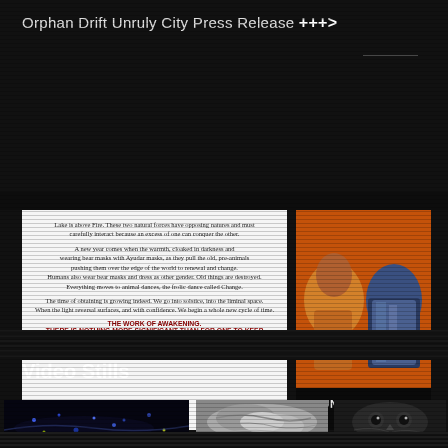Orphan Drift Unruly City Press Release +++>
[Figure (photo): White card with italic body text about Lake and Fire, ending in bold dark red text: 'THE WORK OF AWAKENING. THERE IS NOTHING MORE SIGNIFICANT THAN FOR ONE TO KEEP AWAKE.']
[Figure (photo): Album/book cover showing two figures in colorful garments against orange/red background with text 'UNRULY CITY']
Video Stills
[Figure (photo): Dark video still with glowing blue/yellow particles or lights scattered over a dark surface]
[Figure (photo): Grayscale close-up of organic textured form, possibly animal or body part]
[Figure (photo): Dark image of an owl or bird face looking forward, high contrast black and white]